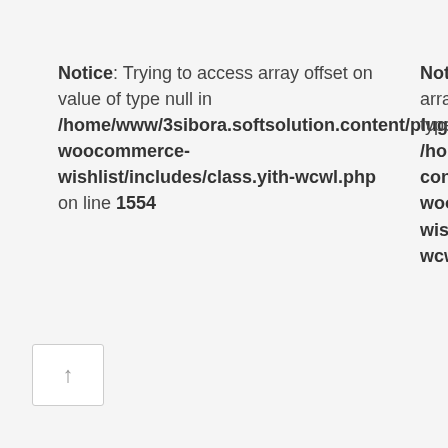Notice: Trying to access array offset on value of type null in /home/www/3sibora.softsolution.content/plugins/yith-woocommerce-wishlist/includes/class.yith-wcwl.php on line 1554
Notice: Trying to access array offset on value of type null in /home/www/...content/plugins/yith-woocommerce-wishlist/includes/class.yith-wcwl.php